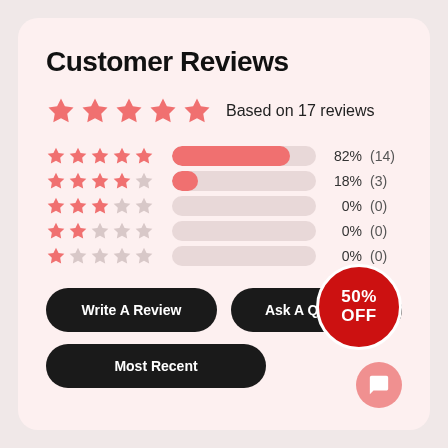Customer Reviews
Based on 17 reviews
[Figure (bar-chart): Customer Reviews Rating Breakdown]
Write A Review
Ask A Question
Most Recent
50% OFF